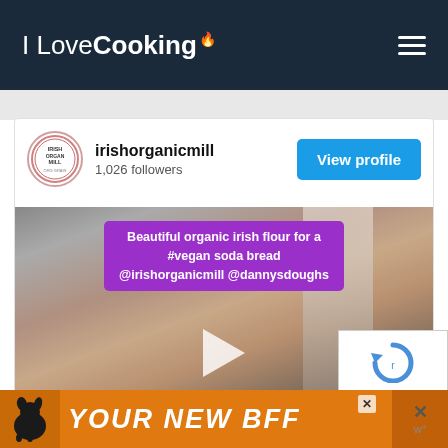I Love Cooking
[Figure (screenshot): Social media embed showing irishorganicmill Instagram profile with 1,026 followers and a View profile button, followed by a video thumbnail with purple text overlay 'Beautiful organic irish flour for a #vegan soda bread @irishorganicmill @dannysdoughs' and a play button]
irishorganicmill
1,026 followers
Beautiful organic irish flour for a #vegan soda bread @irishorganicmill @dannysdoughs
[Figure (screenshot): Bottom advertisement banner with orange background showing a dog silhouette and text 'YOUR NEW BFF']